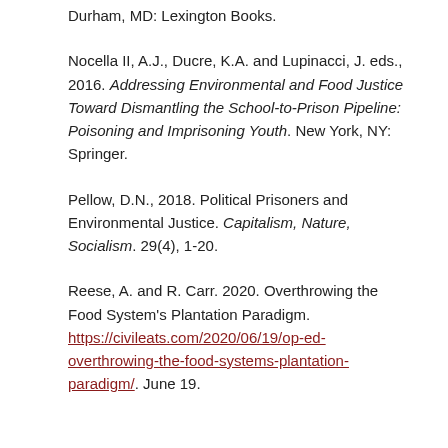Durham, MD: Lexington Books.
Nocella II, A.J., Ducre, K.A. and Lupinacci, J. eds., 2016. Addressing Environmental and Food Justice Toward Dismantling the School-to-Prison Pipeline: Poisoning and Imprisoning Youth. New York, NY: Springer.
Pellow, D.N., 2018. Political Prisoners and Environmental Justice. Capitalism, Nature, Socialism. 29(4), 1-20.
Reese, A. and R. Carr. 2020. Overthrowing the Food System's Plantation Paradigm. https://civileats.com/2020/06/19/op-ed-overthrowing-the-food-systems-plantation-paradigm/. June 19.